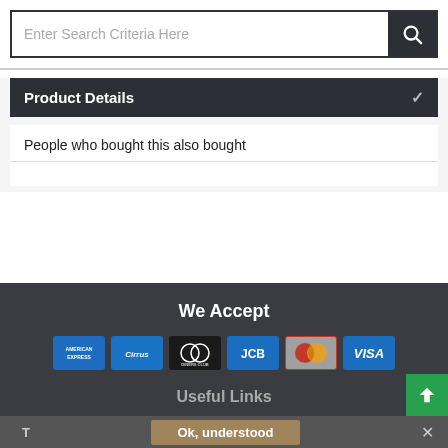[Figure (screenshot): Search bar with placeholder text 'Enter Search Criteria Here' and a dark search button with magnifying glass icon]
Product Details
People who bought this also bought
We Accept
[Figure (infographic): Row of payment method icons: American Express, Cirrus, Diners Club, JCB, MasterCard, VISA]
Useful Links
Ok, understood